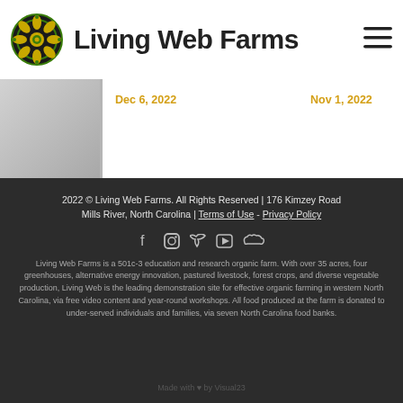Living Web Farms
Dec 6, 2022
Nov 1, 2022
2022 © Living Web Farms. All Rights Reserved | 176 Kimzey Road Mills River, North Carolina | Terms of Use - Privacy Policy
[Figure (other): Social media icons: Facebook, Instagram, Twitter, YouTube, SoundCloud]
Living Web Farms is a 501c-3 education and research organic farm. With over 35 acres, four greenhouses, alternative energy innovation, pastured livestock, forest crops, and diverse vegetable production, Living Web is the leading demonstration site for effective organic farming in western North Carolina, via free video content and year-round workshops. All food produced at the farm is donated to under-served individuals and families, via seven North Carolina food banks.
Made with ♥ by Visual23